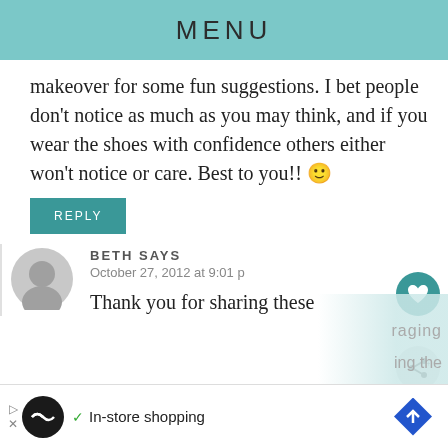MENU
makeover for some fun suggestions. I bet people don't notice as much as you may think, and if you wear the shoes with confidence others either won't notice or care. Best to you!! 🙂
REPLY
BETH SAYS
October 27, 2012 at 9:01 p
Thank you for sharing these